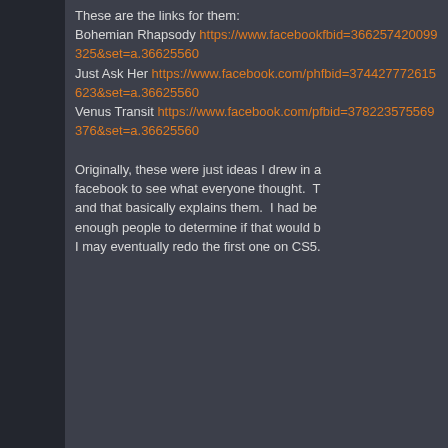These are the links for them:
Bohemian Rhapsody https://www.facebook.com/...fbid=366257420099325&set=a.366255600...
Just Ask Her https://www.facebook.com/ph...fbid=374427772615623&set=a.366255600...
Venus Transit https://www.facebook.com/p...fbid=378223575569376&set=a.366255600...

Originally, these were just ideas I drew in a...facebook to see what everyone thought. T...and that basically explains them. I had be...enough people to determine if that would b...I may eventually redo the first one on CS5.
Welu
It was me, Austin. It was me all along.
Global Moderator
comeback tour!
Offline
Posts: 5,758
Re: Works In Progress - Give and ... Visual Arts)
« Reply #4 on: 21 May 2014, 17:13 »
Whoa, I first made this thread two years ag...